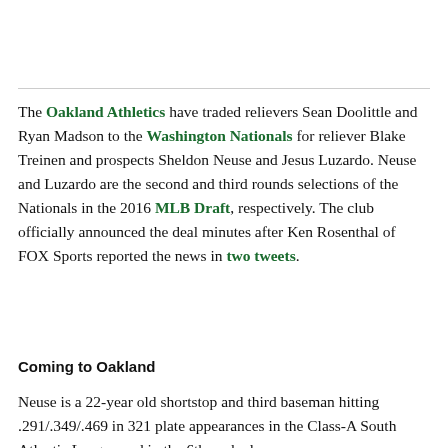The Oakland Athletics have traded relievers Sean Doolittle and Ryan Madson to the Washington Nationals for reliever Blake Treinen and prospects Sheldon Neuse and Jesus Luzardo. Neuse and Luzardo are the second and third rounds selections of the Nationals in the 2016 MLB Draft, respectively. The club officially announced the deal minutes after Ken Rosenthal of FOX Sports reported the news in two tweets.
Coming to Oakland
Neuse is a 22-year old shortstop and third baseman hitting .291/.349/.469 in 321 plate appearances in the Class-A South Atlantic League and in the 6th-ranked...